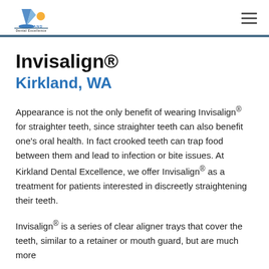Kirkland Dental Excellence
Invisalign®
Kirkland, WA
Appearance is not the only benefit of wearing Invisalign® for straighter teeth, since straighter teeth can also benefit one's oral health. In fact crooked teeth can trap food between them and lead to infection or bite issues. At Kirkland Dental Excellence, we offer Invisalign® as a treatment for patients interested in discreetly straightening their teeth.
Invisalign® is a series of clear aligner trays that cover the teeth, similar to a retainer or mouth guard, but are much more discreet. At the treatment onset, the patient will visit the...